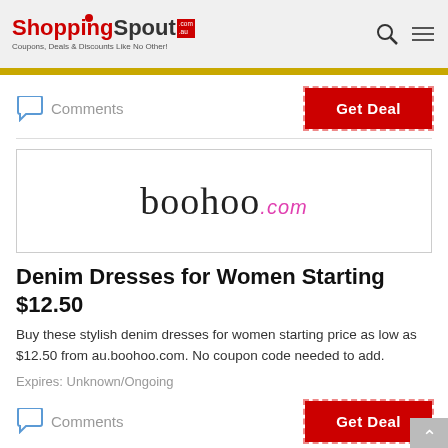[Figure (logo): ShoppingSpout.com.au logo with tagline: Coupons, Deals & Discounts Like No Other!]
Comments
Get Deal
[Figure (logo): boohoo.com logo in a bordered box]
Denim Dresses for Women Starting $12.50
Buy these stylish denim dresses for women starting price as low as $12.50 from au.boohoo.com. No coupon code needed to add.
Expires: Unknown/Ongoing
Comments
Get Deal